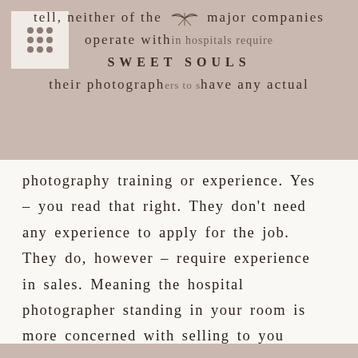[Figure (other): Header block with beige/taupe background containing a grid-dots icon box, decorative leaf SVG, and overlapping text from a book page about hospital photography companies, with the brand name SWEET SOULS centered.]
tell, neither of the major companies operate within hospitals require their photographers to have any actual photography training or experience. Yes – you read that right. They don't need any experience to apply for the job. They do, however – require experience in sales. Meaning the hospital photographer standing in your room is more concerned with selling to you than capturing your memories.